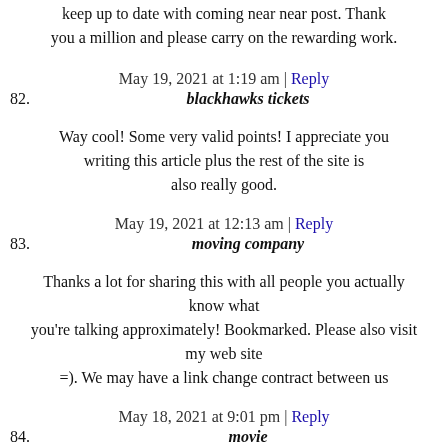keep up to date with coming near near post. Thank you a million and please carry on the rewarding work.
May 19, 2021 at 1:19 am | Reply
82. blackhawks tickets
Way cool! Some very valid points! I appreciate you writing this article plus the rest of the site is also really good.
May 19, 2021 at 12:13 am | Reply
83. moving company
Thanks a lot for sharing this with all people you actually know what you're talking approximately! Bookmarked. Please also visit my web site =). We may have a link change contract between us
May 18, 2021 at 9:01 pm | Reply
84. movie
Hi! Do you know if they make any plugins to protect against hackers? I'm kinda paranoid about losing everything I've worked hard